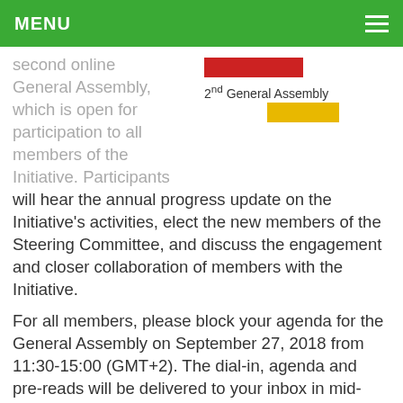MENU
second online General Assembly, which is open for participation to all members of the Initiative. Participants will hear the annual progress update on the Initiative's activities, elect the new members of the Steering Committee, and discuss the engagement and closer collaboration of members with the Initiative.
[Figure (illustration): 2nd General Assembly banner/logo with red and yellow/gold color bars]
For all members, please block your agenda for the General Assembly on September 27, 2018 from 11:30-15:00 (GMT+2). The dial-in, agenda and pre-reads will be delivered to your inbox in mid-September.
Remember: membership registration is open throughout the year. You or your institution can join by downloading,